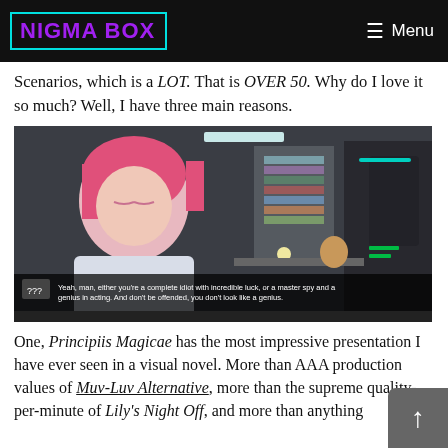NIGMA BOX | Menu
Scenarios, which is a LOT. That is OVER 50. Why do I love it so much? Well, I have three main reasons.
[Figure (screenshot): Visual novel screenshot showing a pink-haired male character in an office/lab setting with dialogue box reading: '??? Yeah, man, either you're a complete idiot with incredible luck, or a master spy and a genius in acting. And don't be offended, you don't look like a genius.']
One, Principiis Magicae has the most impressive presentation I have ever seen in a visual novel. More than AAA production values of Muv-Luv Alternative, more than the supreme quality-per-minute of Lily's Night Off, and more than anything